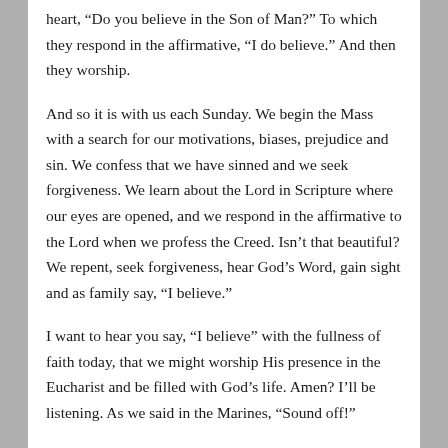heart, “Do you believe in the Son of Man?” To which they respond in the affirmative, “I do believe.” And then they worship.
And so it is with us each Sunday. We begin the Mass with a search for our motivations, biases, prejudice and sin. We confess that we have sinned and we seek forgiveness. We learn about the Lord in Scripture where our eyes are opened, and we respond in the affirmative to the Lord when we profess the Creed. Isn’t that beautiful? We repent, seek forgiveness, hear God’s Word, gain sight and as family say, “I believe.”
I want to hear you say, “I believe” with the fullness of faith today, that we might worship His presence in the Eucharist and be filled with God’s life. Amen? I’ll be listening. As we said in the Marines, “Sound off!”